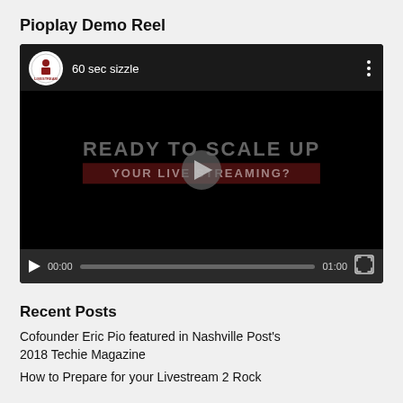Pioplay Demo Reel
[Figure (screenshot): Embedded video player showing '60 sec sizzle' with a PioPlay Livestream logo, video thumbnail with text 'READY TO SCALE UP YOUR LIVE STREAMING?', a play button overlay, and video controls showing 00:00 / 01:00]
Recent Posts
Cofounder Eric Pio featured in Nashville Post's 2018 Techie Magazine
How to Prepare for your Livestream 2 Rock